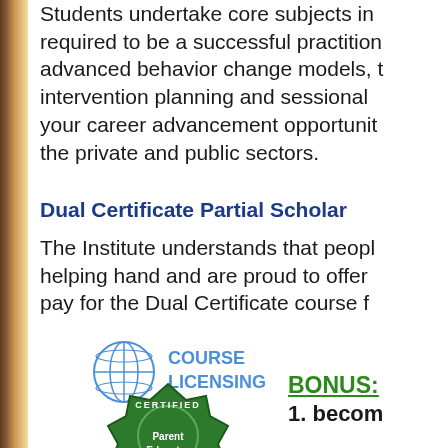Students undertake core subjects in required to be a successful practitioner advanced behavior change models, t intervention planning and sessional your career advancement opportunit the private and public sectors.
Dual Certificate Partial Scholar
The Institute understands that peop helping hand and are proud to offer pay for the Dual Certificate course f
[Figure (logo): Globe icon with 'COURSE LICENSING' text in blue]
[Figure (logo): Green certified badge with 'CERTIFIED Parent Educator ICC ICC' text]
BONUS: 1. becom